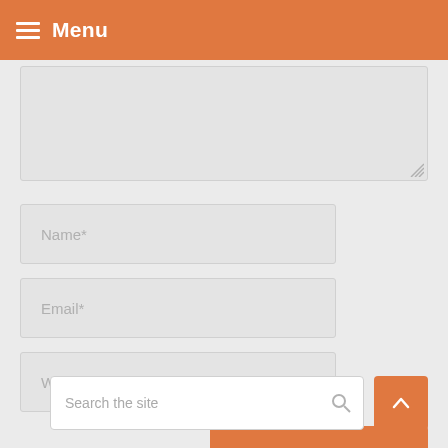Menu
[Figure (screenshot): Textarea input field with resize handle in bottom-right corner]
Name*
Email*
Website
ADD COMMENT
Search the site